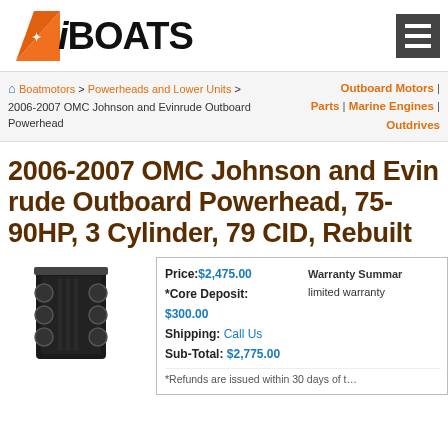iBOATS
Boatmotors > Powerheads and Lower Units > 2006-2007 OMC Johnson and Evinrude Outboard Powerhead | Outboard Motors | Parts | Marine Engines | Outdrives
2006-2007 OMC Johnson and Evinrude Outboard Powerhead, 75-90HP, 3 Cylinder, 79 CID, Rebuilt
[Figure (photo): Photo of a rebuilt outboard powerhead engine block, black colored, 3-cylinder]
| Price: | $2,475.00 | Warranty Summary | limited warranty |
| *Core Deposit: | $300.00 |  |  |
| Shipping: | Call Us |  |  |
| Sub-Total: | $2,775.00 |  |  |
| *Refunds are issued within 30 days of... |  |  |  |